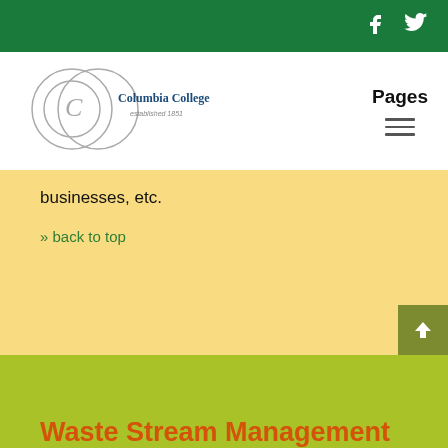Columbia College - social icons (Facebook, Twitter)
[Figure (logo): Columbia College logo with overlapping circles and text 'Columbia College established 1851']
Pages
businesses, etc.
» back to top
Waste Stream Management